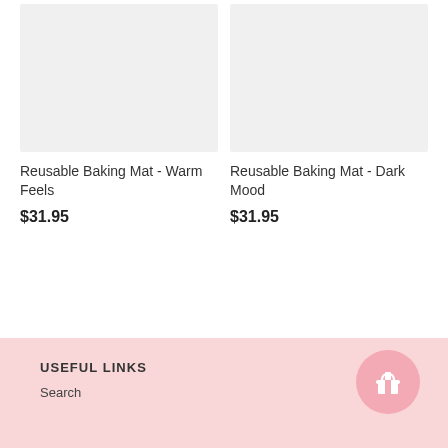[Figure (photo): Product image placeholder for Reusable Baking Mat - Warm Feels (light gray background)]
Reusable Baking Mat - Warm Feels
$31.95
[Figure (photo): Product image placeholder for Reusable Baking Mat - Dark Mood (light gray background)]
Reusable Baking Mat - Dark Mood
$31.95
USEFUL LINKS
Search
[Figure (illustration): Gift icon button (pink circle with white gift icon) in footer]